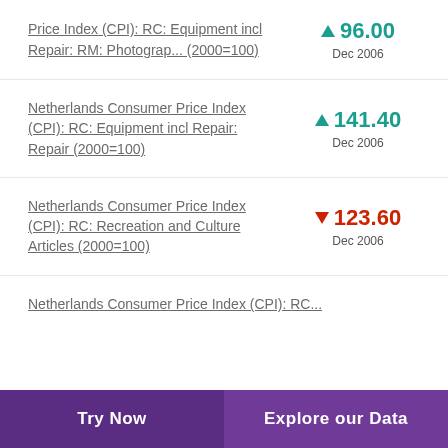Price Index (CPI): RC: Equipment incl Repair: RM: Photograp... (2000=100)
Netherlands Consumer Price Index (CPI): RC: Equipment incl Repair: Repair (2000=100)
Netherlands Consumer Price Index (CPI): RC: Recreation and Culture Articles (2000=100)
Netherlands Consumer Price Index (CPI): RC...
Try Now | Explore our Data